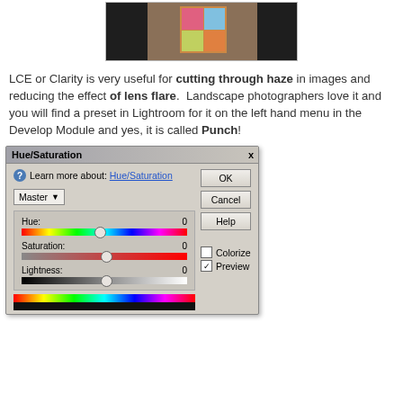[Figure (screenshot): Screenshot of a photo editing application showing a quilt/colorful image in Lightroom develop module]
LCE or Clarity is very useful for cutting through haze in images and reducing the effect of lens flare. Landscape photographers love it and you will find a preset in Lightroom for it on the left hand menu in the Develop Module and yes, it is called Punch!
[Figure (screenshot): Hue/Saturation dialog box from Photoshop showing Hue, Saturation, and Lightness sliders all set to 0, with Master channel selected, and OK, Cancel, Help buttons, plus Colorize and Preview checkboxes]